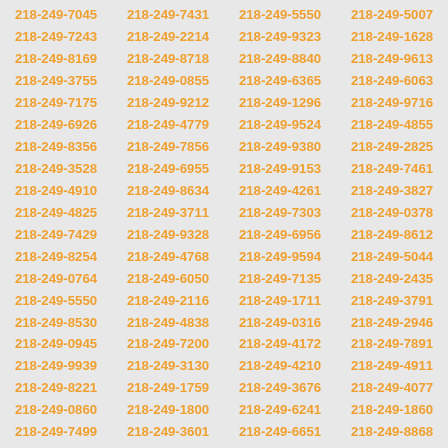218-249-7045 218-249-7431 218-249-5550 218-249-5007 218-249-7243 218-249-2214 218-249-9323 218-249-1628 218-249-8169 218-249-8718 218-249-8840 218-249-9613 218-249-3755 218-249-0855 218-249-6365 218-249-6063 218-249-7175 218-249-9212 218-249-1296 218-249-9716 218-249-6926 218-249-4779 218-249-9524 218-249-4855 218-249-8356 218-249-7856 218-249-9380 218-249-2825 218-249-3528 218-249-6955 218-249-9153 218-249-7461 218-249-4910 218-249-8634 218-249-4261 218-249-3827 218-249-4825 218-249-3711 218-249-7303 218-249-0378 218-249-7429 218-249-9328 218-249-6956 218-249-8612 218-249-8254 218-249-4768 218-249-9594 218-249-5044 218-249-0764 218-249-6050 218-249-7135 218-249-2435 218-249-5550 218-249-2116 218-249-1711 218-249-3791 218-249-8530 218-249-4838 218-249-0316 218-249-2946 218-249-0945 218-249-7200 218-249-4172 218-249-7891 218-249-9939 218-249-3130 218-249-4210 218-249-4911 218-249-8221 218-249-1759 218-249-3676 218-249-4077 218-249-0860 218-249-1800 218-249-6241 218-249-1860 218-249-7499 218-249-3601 218-249-6651 218-249-8868 218-249-7329 218-249-8708 218-249-2075 218-249-9844 218-249-4633 218-249-7381 218-249-0015 218-249-8856 218-249-8887 218-249-9954 218-249-5262 218-249-0097 218-249-6741 218-249-9248 218-249-9321 218-249-2755 218-249-8613 218-249-4272 218-249-6957 218-249-3679 218-249-6996 218-249-3463 218-249-4524 218-249-5829 218-249-1029 218-249-0300 218-249-2934 218-249-6920 218-249-1819 218-249-6886 218-249-1479 218-249-2263 218-249-2544 218-249-4688 218-249-9813 218-249-6890 218-249-8395 218-249-4207 218-249-1956 218-249-9657 218-249-6786 218-249-2895 218-249-0190 218-249-9797